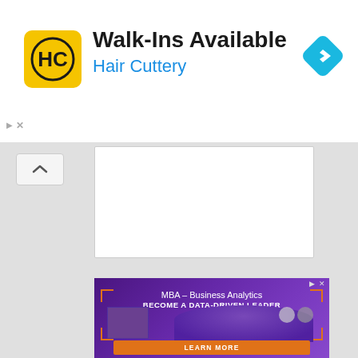[Figure (screenshot): Hair Cuttery advertisement banner with HC logo in yellow square, text 'Walk-Ins Available', 'Hair Cuttery' in blue, and a blue navigation arrow icon on the right]
[Figure (screenshot): A white content panel area with a collapse/chevron button on the left side]
[Figure (screenshot): MBA Business Analytics advertisement with purple background, orange brackets, text 'MBA – Business Analytics', 'BECOME A DATA-DRIVEN LEADER', woman smiling, clocks showing city times, 'LEARN MORE' orange button]